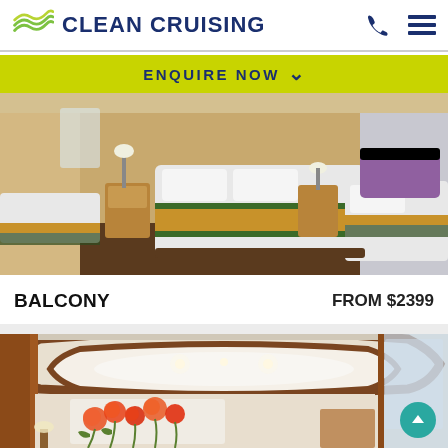CLEAN CRUISING
ENQUIRE NOW
[Figure (photo): Cruise ship balcony cabin interior showing two twin beds with white linens and gold/green accent runners, wooden furniture and night stands]
BALCONY    FROM $2399
[Figure (photo): Cruise ship suite interior showing decorative wooden ceiling trim, floral wall art with orange poppies, and a mirror reflecting the cabin]